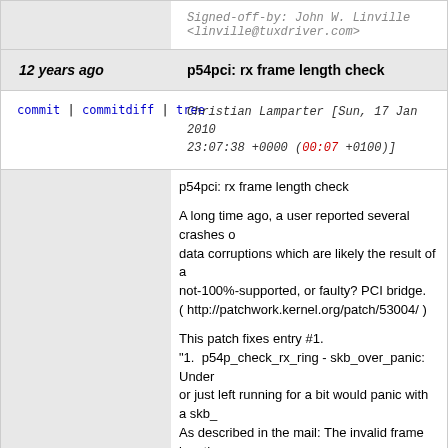Signed-off-by: John W. Linville <linville@tuxdriver.com>
| 12 years ago | p54pci: rx frame length check |
| --- | --- |
commit | commitdiff | tree   Christian Lamparter [Sun, 17 Jan 2010 23:07:38 +0000 (00:07 +0100)]
p54pci: rx frame length check

A long time ago, a user reported several crashes or data corruptions which are likely the result of a not-100%-supported, or faulty? PCI bridge.
( http://patchwork.kernel.org/patch/53004/ )

This patch fixes entry #1.
"1. p54p_check_rx_ring - skb_over_panic: Under... or just left running for a bit would panic with a skb_. As described in the mail: The invalid frame length skb_put to bailout and trigger a crash.

Note:
Simply dropping the frame is problematic, because contains a tx feedback we would lose some portion memory space.... And the driver/mac80211 should invalid data.

Reported-by: Quintin Pitts <geek4linux@gmail.com>
Signed-off-by: Christian Lamparter <chunkeev@googlemail.com>